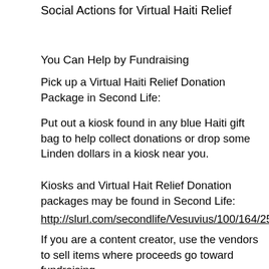Social Actions for Virtual Haiti Relief
You Can Help by Fundraising
Pick up a Virtual Haiti Relief Donation Package in Second Life:
Put out a kiosk found in any blue Haiti gift bag to help collect donations or drop some Linden dollars in a kiosk near you.
Kiosks and Virtual Hait Relief Donation packages may be found in Second Life:
http://slurl.com/secondlife/Vesuvius/100/164/25
If you are a content creator, use the vendors to sell items where proceeds go toward fundraising
You can pass along the Donation Package to others that might be interested in raising funds for Haiti relief
Other Ways to Get Involved:
Blog, tweet/retweet, post on Facebook to help share with others outside of SL, follow @VirtualHaiti on twitter